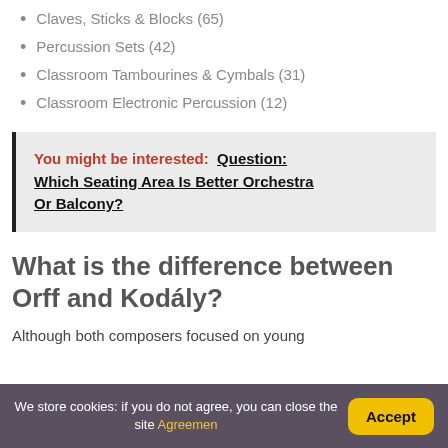Claves, Sticks & Blocks (65)
Percussion Sets (42)
Classroom Tambourines & Cymbals (31)
Classroom Electronic Percussion (12)
You might be interested:  Question: Which Seating Area Is Better Orchestra Or Balcony?
What is the difference between Orff and Kodály?
Although both composers focused on young
We store cookies: if you do not agree, you can close the site Agreement